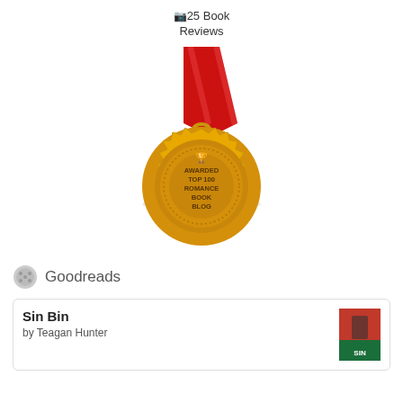25 Book Reviews
[Figure (illustration): Gold medal award badge with red ribbon lanyard, inscribed with 'AWARDED TOP 100 ROMANCE BOOK BLOG' and a trophy icon on top]
Goodreads
Sin Bin
by Teagan Hunter